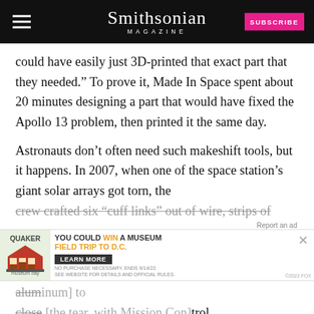Smithsonian MAGAZINE
could have easily just 3D-printed that exact part that they needed.” To prove it, Made In Space spent about 20 minutes designing a part that would have fixed the Apollo 13 problem, then printed it the same day.
Astronauts don’t often need such makeshift tools, but it happens. In 2007, when one of the space station’s giant solar arrays got torn, the crew crafted six “cuff links” out of wire, strips of alum[inum] to close [the tear, with Mission Con]trol had [to figure out some alternative] the
[Figure (screenshot): Advertisement banner: Quaker and Museum Day promotion. Text reads: YOU COULD WIN A MUSEUM FIELD TRIP TO D.C. LEARN MORE. NO PURCHASE NECESSARY. ENDS 9/14/22. SEE WEBSITE FOR DETAILS AND OFFICIAL RULES.]